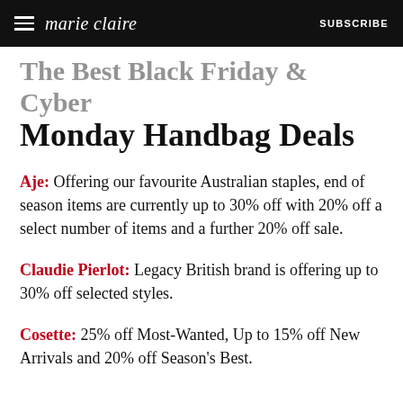marie claire  SUBSCRIBE
The Best Black Friday & Cyber Monday Handbag Deals
Aje: Offering our favourite Australian staples, end of season items are currently up to 30% off with 20% off a select number of items and a further 20% off sale.
Claudie Pierlot: Legacy British brand is offering up to 30% off selected styles.
Cosette: 25% off Most-Wanted, Up to 15% off New Arrivals and 20% off Season's Best.